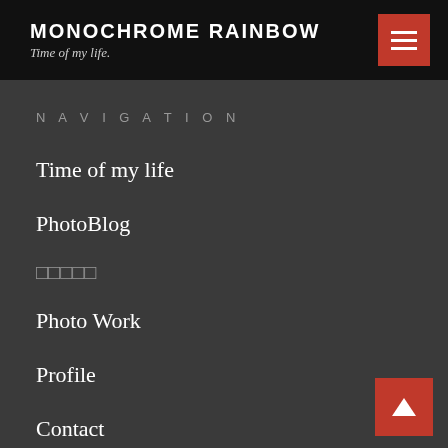MONOCHROME RAINBOW — Time of my life.
NAVIGATION
Time of my life
PhotoBlog
□□□□□
Photo Work
Profile
Contact
Privacy Policy